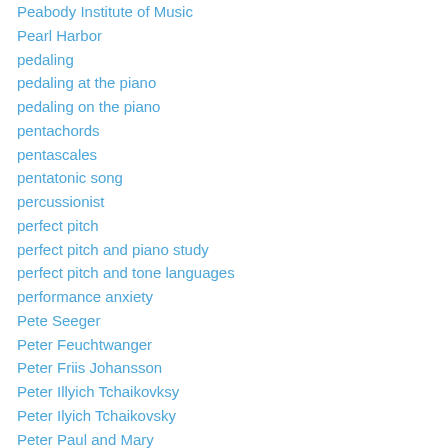Peabody Institute of Music
Pearl Harbor
pedaling
pedaling at the piano
pedaling on the piano
pentachords
pentascales
pentatonic song
percussionist
perfect pitch
perfect pitch and piano study
perfect pitch and tone languages
performance anxiety
Pete Seeger
Peter Feuchtwanger
Peter Friis Johansson
Peter Illyich Tchaikovksy
Peter Ilyich Tchaikovsky
Peter Paul and Mary
Peter Seidenberg